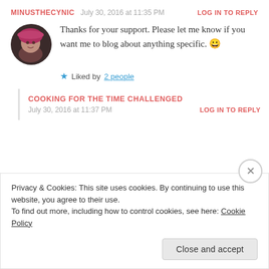MINUSTHECYNIC  July 30, 2016 at 11:35 PM  LOG IN TO REPLY
Thanks for your support. Please let me know if you want me to blog about anything specific. 😀
★ Liked by 2 people
COOKING FOR THE TIME CHALLENGED
July 30, 2016 at 11:37 PM  LOG IN TO REPLY
Privacy & Cookies: This site uses cookies. By continuing to use this website, you agree to their use.
To find out more, including how to control cookies, see here: Cookie Policy
Close and accept